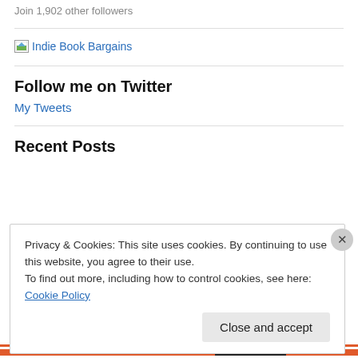Join 1,902 other followers
[Figure (other): Indie Book Bargains image link with small icon]
Follow me on Twitter
My Tweets
Recent Posts
Privacy & Cookies: This site uses cookies. By continuing to use this website, you agree to their use.
To find out more, including how to control cookies, see here: Cookie Policy
Close and accept